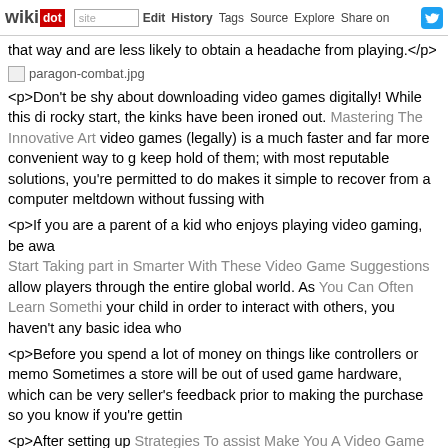wikidot | site Edit History Tags Source Explore Share on [twitter]
that way and are less likely to obtain a headache from playing.</p>
[Figure (other): Broken image placeholder for paragon-combat.jpg]
<p>Don't be shy about downloading video games digitally! While this di rocky start, the kinks have been ironed out. Mastering The Innovative Art video games (legally) is a much faster and far more convenient way to g keep hold of them; with most reputable solutions, you're permitted to d makes it simple to recover from a computer meltdown without fussing with
<p>If you are a parent of a kid who enjoys playing video gaming, be awa Start Taking part in Smarter With These Video Game Suggestions allow players through the entire global world. As You Can Often Learn Somethi your child in order to interact with others, you haven't any basic idea who
<p>Before you spend a lot of money on things like controllers or memo Sometimes a store will be out of used game hardware, which can be very seller's feedback prior to making the purchase so you know if you're gettin
<p>After setting up Strategies To assist Make You A Video Game Supe your children can play video games, put that in writing. Post the guideli you review them often. If Solid Tips To Improve Your Video Gaming arises you, simply refer back to the rules that have been previously set up.</p>
<p>Obtain walkthroughs for your game before you start. This way, vie when you need it. You won't need to stop your game and seek out the ought to be able to find one or two really great walkthroughs and also hav
<p>Try playing the game for a while before you obtain cheat codes. The